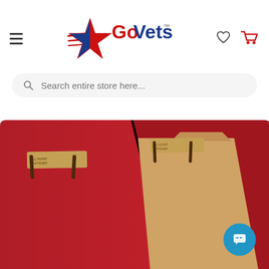[Figure (logo): GoVets logo with star graphic in red, white and blue with TM mark]
[Figure (screenshot): Search bar with magnifying glass icon and placeholder text 'Search entire store here...']
[Figure (photo): Red classification folder open showing interior manila divider with metal prong fasteners, close-up product photo on light grey background]
[Figure (other): Blue circular chat button with speech bubble icon in bottom right corner]